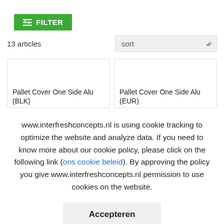[Figure (other): Green FILTER button with filter icon]
13 articles
sort
Pallet Cover One Side Alu (BLK)
Pallet Cover One Side Alu (EUR)
www.interfreshconcepts.nl is using cookie tracking to optimize the website and analyze data. If you need to know more about our cookie policy, please click on the following link (ons cookie beleid). By approving the policy you give www.interfreshconcepts.nl permission to use cookies on the website.
Accepteren